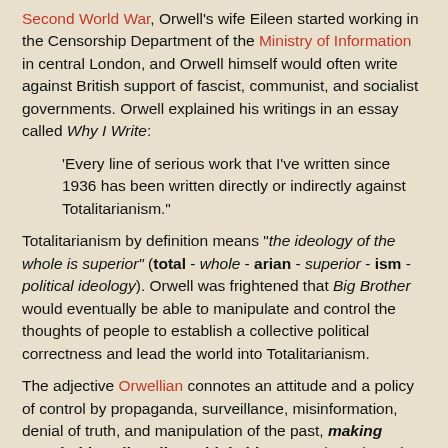Second World War, Orwell's wife Eileen started working in the Censorship Department of the Ministry of Information in central London, and Orwell himself would often write against British support of fascist, communist, and socialist governments. Orwell explained his writings in an essay called Why I Write:
'Every line of serious work that I've written since 1936 has been written directly or indirectly against Totalitarianism."
Totalitarianism by definition means "the ideology of the whole is superior" (total - whole - arian - superior - ism - political ideology). Orwell was frightened that Big Brother would eventually be able to manipulate and control the thoughts of people to establish a collective political correctness and lead the world into Totalitarianism.
The adjective Orwellian connotes an attitude and a policy of control by propaganda, surveillance, misinformation, denial of truth, and manipulation of the past, making certain ideas literally unthinkable. Several words and phrases from Nineteen Eighty-Four have entered the language and...